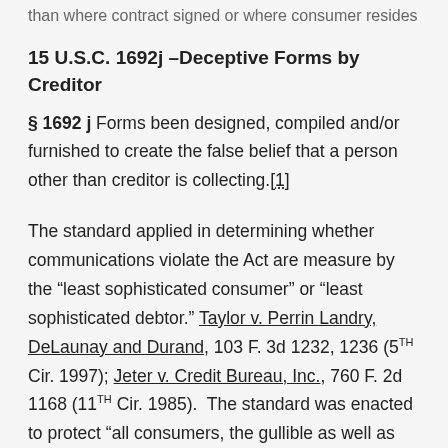than where contract signed or where consumer resides
15 U.S.C. 1692j –Deceptive Forms by Creditor
§ 1692 j Forms been designed, compiled and/or furnished to create the false belief that a person other than creditor is collecting.[1]
The standard applied in determining whether communications violate the Act are measure by the "least sophisticated consumer" or "least sophisticated debtor." Taylor v. Perrin Landry, DeLaunay and Durand, 103 F. 3d 1232, 1236 (5TH Cir. 1997); Jeter v. Credit Bureau, Inc., 760 F. 2d 1168 (11TH Cir. 1985). The standard was enacted to protect "all consumers, the gullible as well as the shrewd."